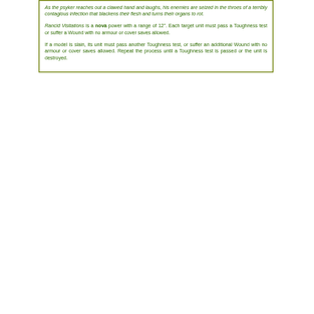As the psyker reaches out a clawed hand and laughs, his enemies are seized in the throes of a terribly contagious infection that blackens their flesh and turns their organs to rot.
Rancid Visitations is a nova power with a range of 12". Each target unit must pass a Toughness test or suffer a Wound with no armour or cover saves allowed.
If a model is slain, its unit must pass another Toughness test, or suffer an additional Wound with no armour or cover saves allowed. Repeat the process until a Toughness test is passed or the unit is destroyed.
Site Index   Models; Lore; Sources; Snippets; Inspiration; Site News; Contact